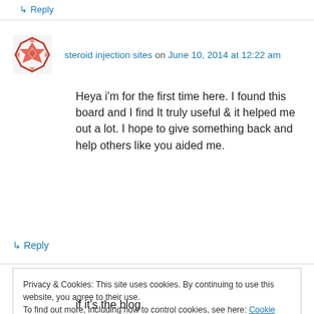↳ Reply
steroid injection sites on June 10, 2014 at 12:22 am
Heya i'm for the first time here. I found this board and I find It truly useful & it helped me out a lot. I hope to give something back and help others like you aided me.
↳ Reply
Privacy & Cookies: This site uses cookies. By continuing to use this website, you agree to their use. To find out more, including how to control cookies, see here: Cookie Policy
Close and accept
if it's the blog